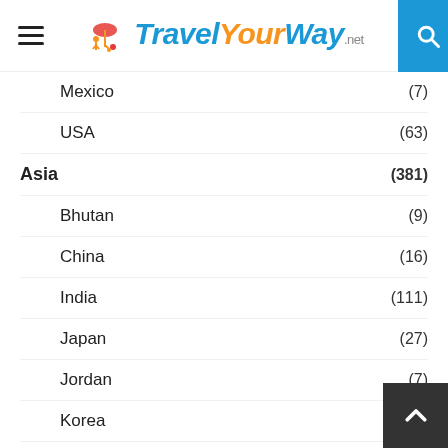Travel Your Way .net
Mexico (7)
USA (63)
Asia (381)
Bhutan (9)
China (16)
India (111)
Japan (27)
Jordan (7)
Korea (5)
Malaysia (9)
Maldives (10)
Nepal
Singapore (15)